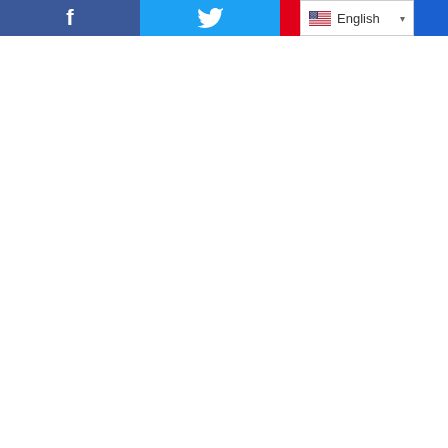[Figure (screenshot): Website toolbar showing Facebook share button (blue with f icon), Twitter share button (light blue with bird icon), a language selector dropdown showing US flag and 'English' text with dropdown arrow, and an additional blue button on the right edge.]